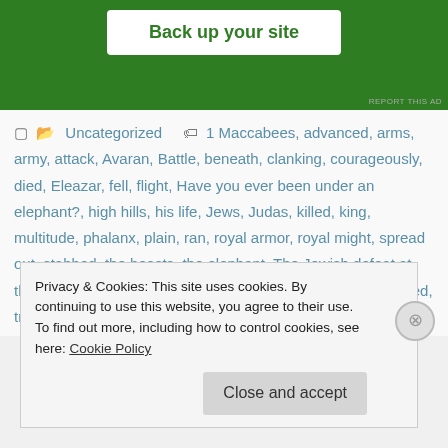[Figure (other): Green advertisement banner with 'Back up your site' button in white]
Uncategorized   1 Maccabees, advanced, arms, army, attack, Avaran, Battle, beneath, clanking, courageously, died, Eleazar, fell, flight, Have you ever been under an elephant?, high hills, his life, Jews, Judas, killed, king, multitude, phalanx, plain, ran, royal armor, royal might, spread out, stabbed, the beasts, the elephant, The Jewish defeat at the battle of Beth-zechariah, the marching, the noise, trembled, troops   26 Comments
Privacy & Cookies: This site uses cookies. By continuing to use this website, you agree to their use.
To find out more, including how to control cookies, see here: Cookie Policy